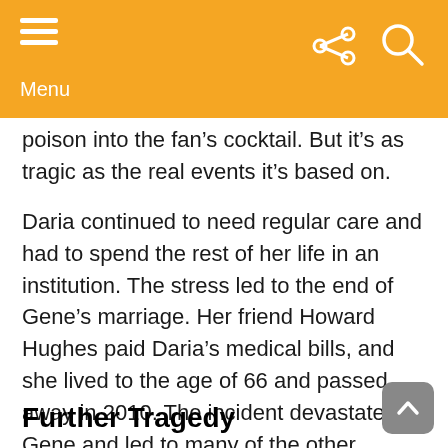Menu
poison into the fan's cocktail. But it's as tragic as the real events it's based on.
Daria continued to need regular care and had to spend the rest of her life in an institution. The stress led to the end of Gene's marriage. Her friend Howard Hughes paid Daria's medical bills, and she lived to the age of 66 and passed away in 2010. The incident devastated Gene and led to many of the other tragedies and mental health struggles she experienced in her life.
Further Tragedy